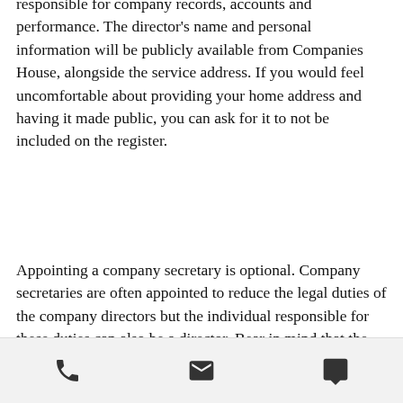responsible for company records, accounts and performance. The director's name and personal information will be publicly available from Companies House, alongside the service address. If you would feel uncomfortable about providing your home address and having it made public, you can ask for it to not be included on the register.
Appointing a company secretary is optional. Company secretaries are often appointed to reduce the legal duties of the company directors but the individual responsible for these duties can also be a director. Bear in mind that the role of secretary can't be assigned to the company's auditor or an 'undischarged bankrupt' (a bankrupt person
Phone | Email | Chat icons